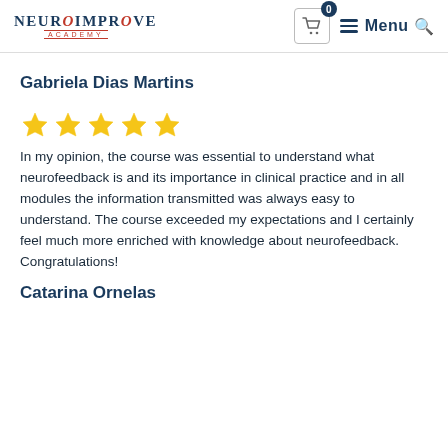NeuroImprove Academy — Menu
Gabriela Dias Martins
[Figure (other): Five yellow star rating icons]
In my opinion, the course was essential to understand what neurofeedback is and its importance in clinical practice and in all modules the information transmitted was always easy to understand. The course exceeded my expectations and I certainly feel much more enriched with knowledge about neurofeedback. Congratulations!
Catarina Ornelas